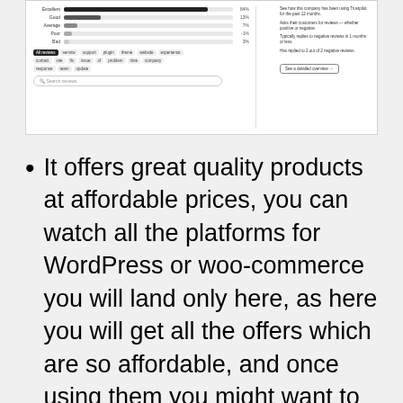[Figure (screenshot): Screenshot of a review/rating interface showing a bar chart of ratings (Excellent, Good, Average, Poor, Bad) with percentages on the left side, tag filters (all reviews, service, support, plugin, theme, website, experience, contact, site, fix, issue, of, problem, time, company, response, team, update) and a search box. Right side shows reviewer info text and a 'See a detailed overview' button.]
It offers great quality products at affordable prices, you can watch all the platforms for WordPress or woo-commerce you will land only here, as here you will get all the offers which are so affordable, and once using them you might want to try it again.